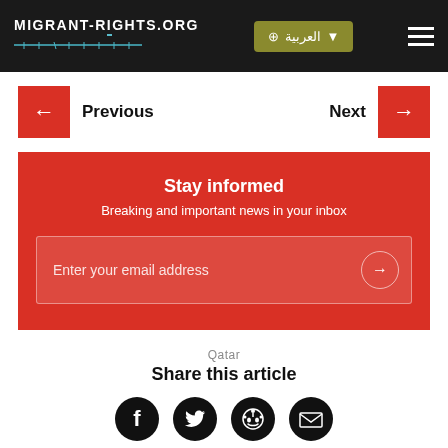MIGRANT-RIGHTS.ORG
Previous
Next
Stay informed
Breaking and important news in your inbox
Enter your email address
Qatar
Share this article
[Figure (other): Social share icons: Facebook, Twitter, Reddit, Email]